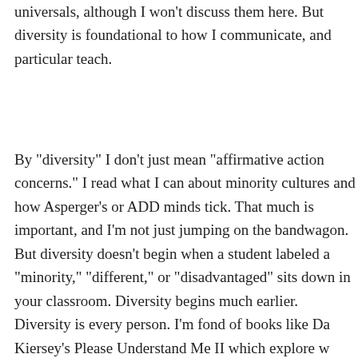universals, although I won't discuss them here. But diversity is foundational to how I communicate, and particular teach.
By "diversity" I don't just mean "affirmative action concerns." I read what I can about minority cultures and how Asperger's or ADD minds tick. That much is important, and I'm not just jumping on the bandwagon. But diversity doesn't begin when a student labeled a "minority," "different," or "disadvantaged" sits down in your classroom. Diversity begins much earlier. Diversity is every person. I'm fond of books like David Kiersey's Please Understand Me II which explore what temperament and Myers-Briggs types mean for personhood. I want to appreciate learning styles. I